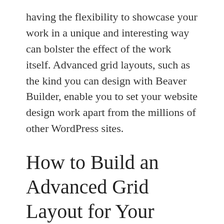having the flexibility to showcase your work in a unique and interesting way can bolster the effect of the work itself. Advanced grid layouts, such as the kind you can design with Beaver Builder, enable you to set your website design work apart from the millions of other WordPress sites.
How to Build an Advanced Grid Layout for Your WordPress Site (In 3 Steps)
Building an advanced grid layout is easier than you might expect, thanks to Beaver Builder's intuitive features. If you're already familiar with the WordPress Block Editor